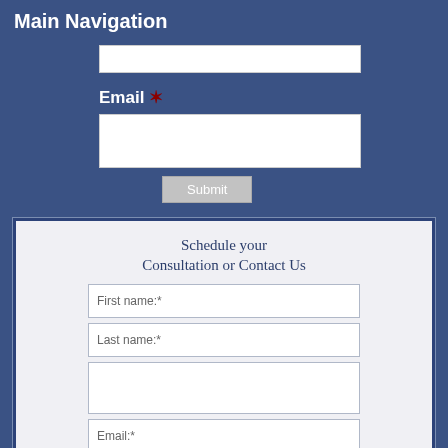Main Navigation
Email *
Submit
Schedule your Consultation or Contact Us
First name:*
Last name:*
Email:*
Comments: